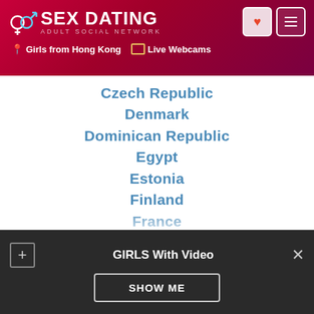SEX DATING ADULT SOCIAL NETWORK | Girls from Hong Kong | Live Webcams
Czech Republic
Denmark
Dominican Republic
Egypt
Estonia
Finland
France
Germany
Greece
Greenland
Guatemala
Haiti
Hong Kong
GIRLS With Video
SHOW ME